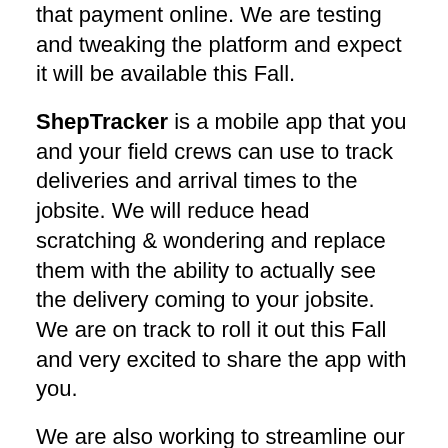that payment online. We are testing and tweaking the platform and expect it will be available this Fall.
ShepTracker is a mobile app that you and your field crews can use to track deliveries and arrival times to the jobsite. We will reduce head scratching & wondering and replace them with the ability to actually see the delivery coming to your jobsite. We are on track to roll it out this Fall and very excited to share the app with you.
We are also working to streamline our estimating process with an internal program that gives us better control from plan submission to final quote by centralizing plans, specifications, notes, and revisions in one spot and sharing it with your entire Shepley Team, from Estimators to Specialists. It allows us to collaborate on work more quickly and ensure that we give you complete, accurate, and timely estimates to bid your jobs and control your